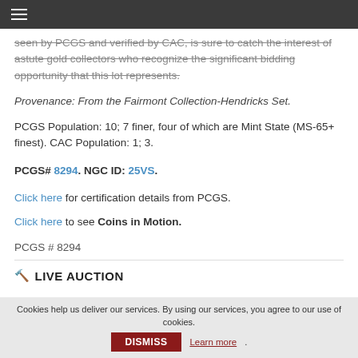≡ (hamburger menu)
seen by PCGS and verified by CAC, is sure to catch the interest of astute gold collectors who recognize the significant bidding opportunity that this lot represents.
Provenance: From the Fairmont Collection-Hendricks Set.
PCGS Population: 10; 7 finer, four of which are Mint State (MS-65+ finest). CAC Population: 1; 3.
PCGS# 8294. NGC ID: 25VS.
Click here for certification details from PCGS.
Click here to see Coins in Motion.
PCGS # 8294
🔨 LIVE AUCTION
Cookies help us deliver our services. By using our services, you agree to our use of cookies.
DISMISS
Learn more.